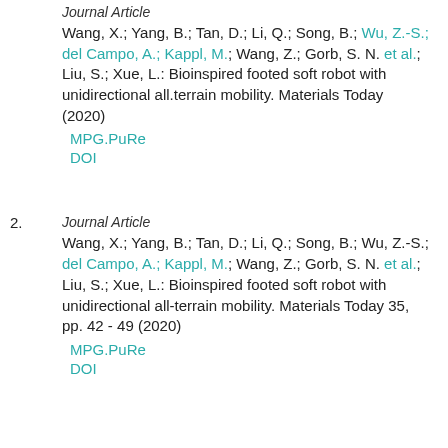Journal Article
Wang, X.; Yang, B.; Tan, D.; Li, Q.; Song, B.; Wu, Z.-S.; del Campo, A.; Kappl, M.; Wang, Z.; Gorb, S. N. et al.; Liu, S.; Xue, L.: Bioinspired footed soft robot with unidirectional all.terrain mobility. Materials Today (2020)
MPG.PuRe
DOI
2.
Journal Article
Wang, X.; Yang, B.; Tan, D.; Li, Q.; Song, B.; Wu, Z.-S.; del Campo, A.; Kappl, M.; Wang, Z.; Gorb, S. N. et al.; Liu, S.; Xue, L.: Bioinspired footed soft robot with unidirectional all-terrain mobility. Materials Today 35, pp. 42 - 49 (2020)
MPG.PuRe
DOI